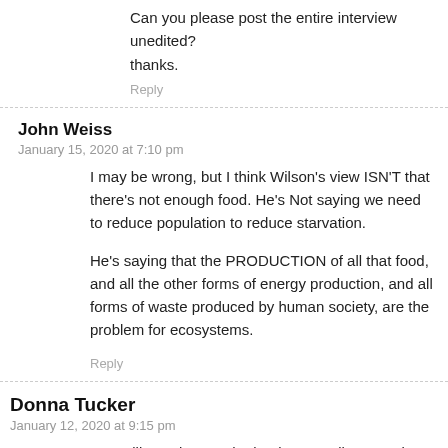Can you please post the entire interview unedited? thanks.
Reply
John Weiss
January 15, 2020 at 7:10 pm
I may be wrong, but I think Wilson's view ISN'T that there's not enough food. He's Not saying we need to reduce population to reduce starvation.
He's saying that the PRODUCTION of all that food, and all the other forms of energy production, and all forms of waste produced by human society, are the problem for ecosystems.
Reply
Donna Tucker
January 12, 2020 at 9:15 pm
We are like a virus on the landscape, all consuming